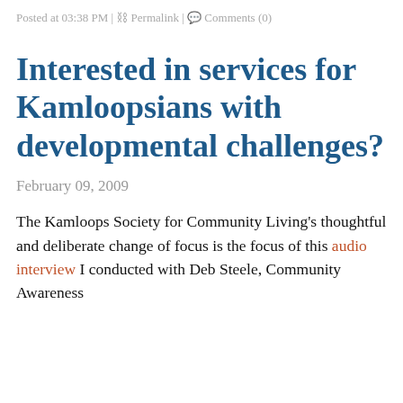Posted at 03:38 PM | Permalink | Comments (0)
Interested in services for Kamloopsians with developmental challenges?
February 09, 2009
The Kamloops Society for Community Living's thoughtful and deliberate change of focus is the focus of this audio interview I conducted with Deb Steele, Community Awareness